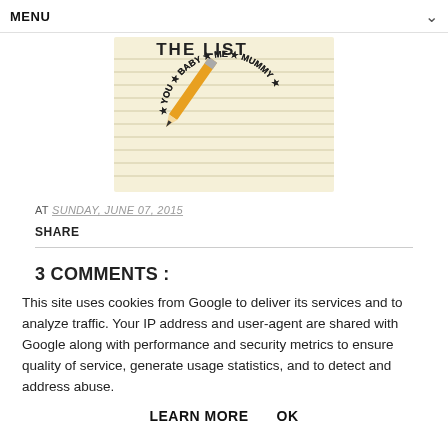MENU
[Figure (illustration): Blog logo image showing 'YOU BABY ME MUMMY' text arranged in a circle with stars, and a pencil in the center on a lined notepad background. Partial text 'THE LIST' visible at top.]
AT SUNDAY, JUNE 07, 2015
SHARE
3 COMMENTS :
This site uses cookies from Google to deliver its services and to analyze traffic. Your IP address and user-agent are shared with Google along with performance and security metrics to ensure quality of service, generate usage statistics, and to detect and address abuse.
LEARN MORE    OK